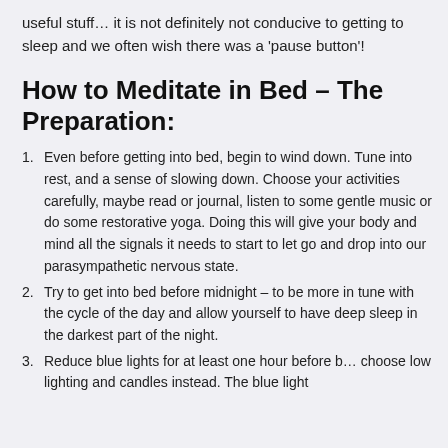useful stuff… it is not definitely not conducive to getting to sleep and we often wish there was a 'pause button'!
How to Meditate in Bed – The Preparation:
Even before getting into bed, begin to wind down. Tune into rest, and a sense of slowing down. Choose your activities carefully, maybe read or journal, listen to some gentle music or do some restorative yoga. Doing this will give your body and mind all the signals it needs to start to let go and drop into our parasympathetic nervous state.
Try to get into bed before midnight – to be more in tune with the cycle of the day and allow yourself to have deep sleep in the darkest part of the night.
Reduce blue lights for at least one hour before b… choose low lighting and candles instead. The blue light…